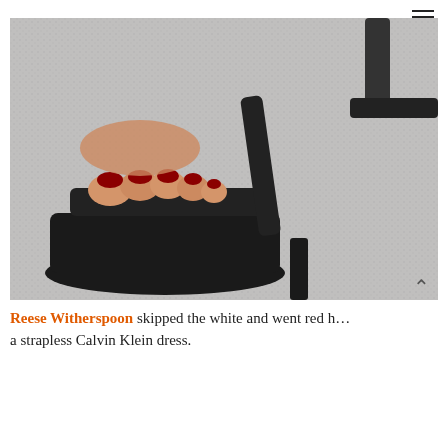[Figure (photo): Close-up photo of feet wearing black strappy high-heel sandals with dark red/maroon toenail polish, on a light grey carpet background.]
Reese Witherspoon skipped the white and went red h… a strapless Calvin Klein dress.